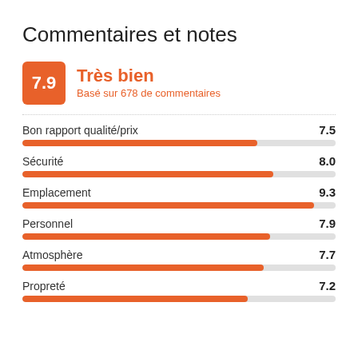Commentaires et notes
7.9 Très bien
Basé sur 678 de commentaires
[Figure (bar-chart): Ratings by category]